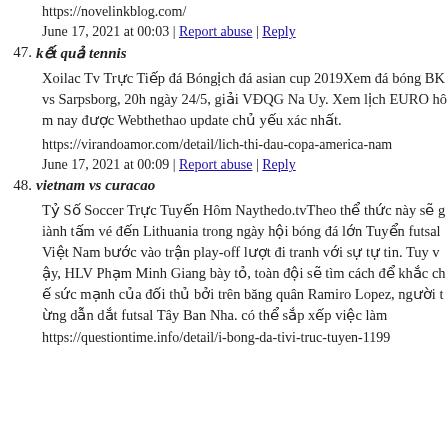https://novelinkblog.com/
June 17, 2021 at 00:03 | Report abuse | Reply
47. kết quả tennis
Xoilac Tv Trực Tiếp đá Bóngịch đá asian cup 2019Xem đá bóng BK vs Sarpsborg, 20h ngày 24/5, giải VĐQG Na Uy. Xem lịch EURO hôm nay được Webthethao update chủ yếu xác nhất.
https://virandoamor.com/detail/lich-thi-dau-copa-america-nam
June 17, 2021 at 00:09 | Report abuse | Reply
48. vietnam vs curacao
Tỷ Số Soccer Trực Tuyến Hôm Naythedo.tvTheo thể thức này sẽ giành tấm vé đến Lithuania trong ngày hội bóng đá lớn Tuyển futsal Việt Nam bước vào trận play-off lượt đi tranh với sự tự tin. Tuy vậy, HLV Phạm Minh Giang bày tỏ, toàn đội sẽ tìm cách để khắc chế sức mạnh của đối thủ bởi trên băng quân Ramiro Lopez, người từng dẫn dắt futsal Tây Ban Nha. có thể sắp xếp việc làm
https://questiontime.info/detail/i-bong-da-tivi-truc-tuyen-1199